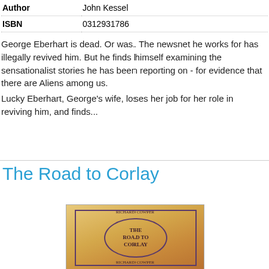| Author | John Kessel |
| --- | --- |
| ISBN | 0312931786 |
George Eberhart is dead. Or was. The newsnet he works for has illegally revived him. But he finds himself examining the sensationalist stories he has been reporting on - for evidence that there are Aliens among us.
Lucky Eberhart, George's wife, loses her job for her role in reviving him, and finds...
The Road to Corlay
[Figure (photo): Book cover of 'The Road to Corlay' showing an ornate oval medallion design on a warm golden-orange background with purple/dark border decorations]